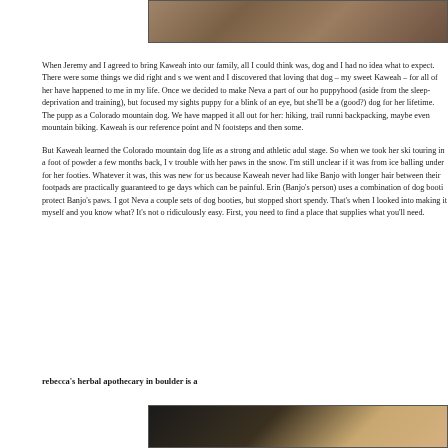[Figure (photo): Top portion of an outdoor rocky landscape photo, cropped at the top of the page]
When Jeremy and I agreed to bring Kaweah into our family, all I could think was, dog and I had no idea what to expect. There were some things we did right and s we went and I discovered that loving that dog – my sweet Kaweah – for all of her have happened to me in my life. Once we decided to make Neva a part of our ho puppyhood (aside from the sleep-deprivation and training), but focused my sights puppy for a blink of an eye, but she'll be a (good?) dog for her lifetime. The pupp as a Colorado mountain dog. We have mapped it all out for her: hiking, trail runni backpacking, maybe even mountain biking. Kaweah is our reference point and N footsteps and then some.

But Kaweah learned the Colorado mountain dog life as a strong and athletic adul stage. So when we took her ski touring in a foot of powder a few months back, I v trouble with her paws in the snow. I'm still unclear if it was from ice balling under for her footies. Whatever it was, this was new for us because Kaweah never had like Banjo with longer hair between their footpads are practically guaranteed to ge days which can be painful. Erin (Banjo's person) uses a combination of dog booti protect Banjo's paws. I got Neva a couple sets of dog booties, but stopped short spendy. That's when I looked into making it myself and you know what? It's not o ridiculously easy. First, you need to find a place that supplies what you'll need.
rebecca's herbal apothecary in boulder is a
[Figure (photo): Bottom portion of a photo showing a dog, partially visible at the bottom of the page]